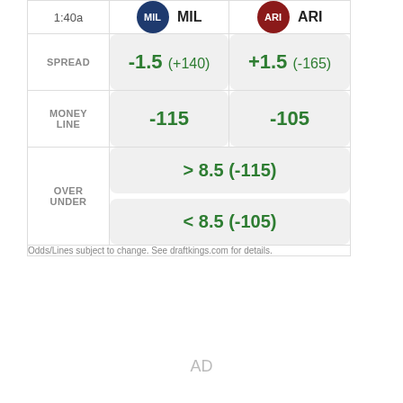| Time | MIL | ARI |
| --- | --- | --- |
| 1:40a | MIL | ARI |
| SPREAD | -1.5 (+140) | +1.5 (-165) |
| MONEY LINE | -115 | -105 |
| OVER UNDER | > 8.5 (-115) / < 8.5 (-105) |  |
Odds/Lines subject to change. See draftkings.com for details.
AD